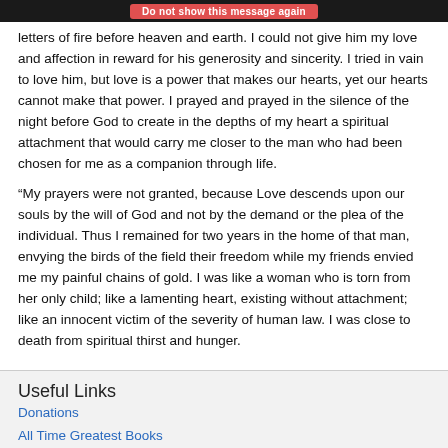Do not show this message again
letters of fire before heaven and earth. I could not give him my love and affection in reward for his generosity and sincerity. I tried in vain to love him, but love is a power that makes our hearts, yet our hearts cannot make that power. I prayed and prayed in the silence of the night before God to create in the depths of my heart a spiritual attachment that would carry me closer to the man who had been chosen for me as a companion through life.
“My prayers were not granted, because Love descends upon our souls by the will of God and not by the demand or the plea of the individual. Thus I remained for two years in the home of that man, envying the birds of the field their freedom while my friends envied me my painful chains of gold. I was like a woman who is torn from her only child; like a lamenting heart, existing without attachment; like an innocent victim of the severity of human law. I was close to death from spiritual thirst and hunger.
Useful Links
Donations
All Time Greatest Books
Series